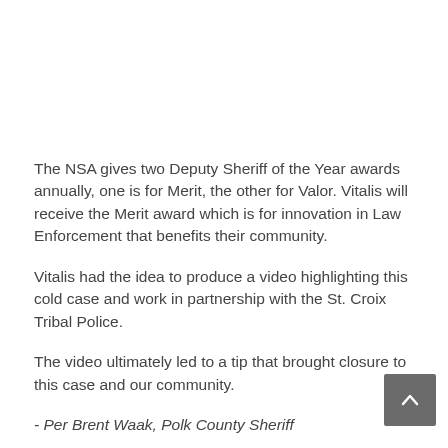The NSA gives two Deputy Sheriff of the Year awards annually, one is for Merit, the other for Valor. Vitalis will receive the Merit award which is for innovation in Law Enforcement that benefits their community.
Vitalis had the idea to produce a video highlighting this cold case and work in partnership with the St. Croix Tribal Police.
The video ultimately led to a tip that brought closure to this case and our community.
- Per Brent Waak, Polk County Sheriff